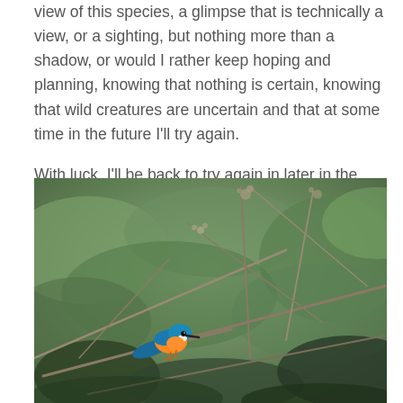view of this species, a glimpse that is technically a view, or a sighting, but nothing more than a shadow, or would I rather keep hoping and planning, knowing that nothing is certain, knowing that wild creatures are uncertain and that at some time in the future I'll try again.
With luck, I'll be back to try again in later in the year.  But nothing is certain.
[Figure (photo): A kingfisher with vivid blue and orange plumage perched on a bare branch, surrounded by out-of-focus green vegetation and twigs in a natural outdoor setting.]